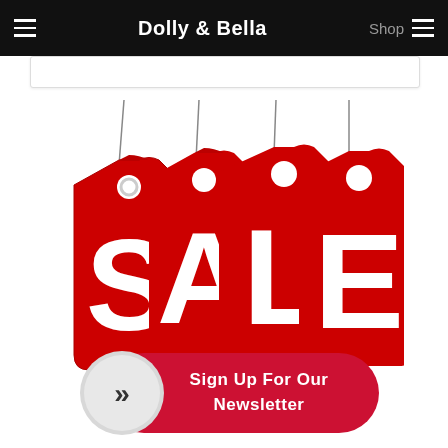Dolly & Bella | Shop
[Figure (illustration): Four red price/sale tags hanging from strings with white letters spelling SALE]
[Figure (illustration): Sign Up For Our Newsletter button with chevron arrow icon on left and red pill-shaped button on right]